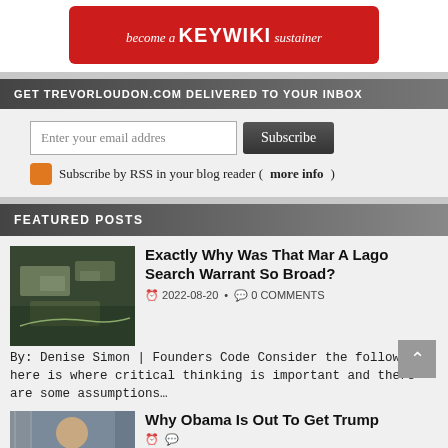[Figure (logo): Become a KeyWiki sustainer banner — red background with white text]
GET TREVORLOUDON.COM DELIVERED TO YOUR INBOX
Enter your email address | Subscribe button
Subscribe by RSS in your blog reader (more info)
FEATURED POSTS
[Figure (photo): Aerial photo thumbnail of Mar-a-Lago property]
Exactly Why Was That Mar A Lago Search Warrant So Broad?
2022-08-20  •  0 COMMENTS
By: Denise Simon | Founders Code Consider the following… here is where critical thinking is important and there are some assumptions…
[Figure (photo): Photo thumbnail of Barack Obama]
Why Obama Is Out To Get Trump
date • 0 COMMENTS (partially visible)